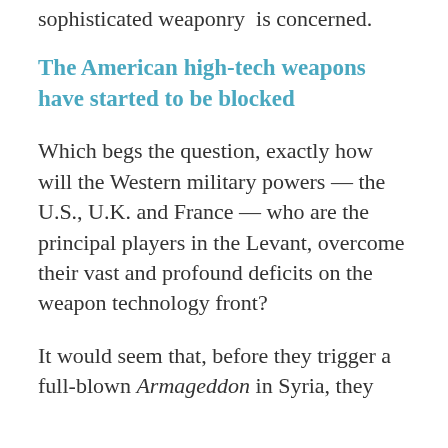sophisticated weaponry is concerned.
The American high-tech weapons have started to be blocked
Which begs the question, exactly how will the Western military powers — the U.S., U.K. and France — who are the principal players in the Levant, overcome their vast and profound deficits on the weapon technology front?
It would seem that, before they trigger a full-blown Armageddon in Syria, they